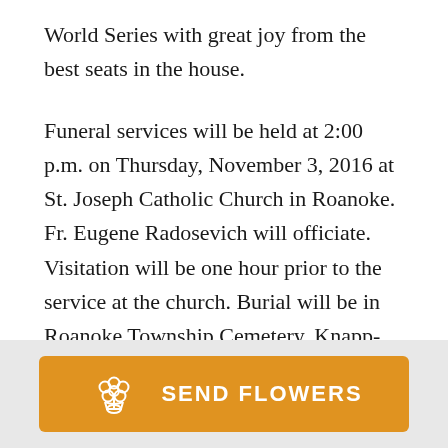World Series with great joy from the best seats in the house.
Funeral services will be held at 2:00 p.m. on Thursday, November 3, 2016 at St. Joseph Catholic Church in Roanoke. Fr. Eugene Radosevich will officiate. Visitation will be one hour prior to the service at the church. Burial will be in Roanoke Township Cemetery. Knapp-Johnson-Harris Funeral Home is assisting the family with arrangements.
[Figure (other): Orange button with flower bouquet icon and text SEND FLOWERS]